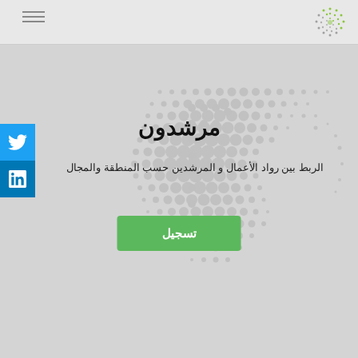مرشدون - header navigation bar with logo
[Figure (other): Decorative dot pattern / halftone background in the main content area, circular gradient dot arrangement in light grey]
مرشدون
الربط بين رواد الأعمال و المرشدين حسب المنطقة والمجال
تسجيل
[Figure (logo): Twitter bird icon in blue square social share button]
[Figure (logo): LinkedIn 'in' icon in blue square social share button]